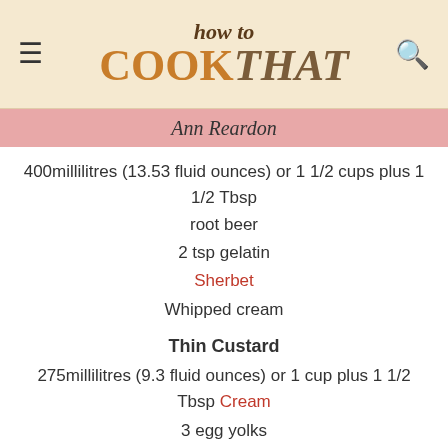how to COOK THAT - Ann Reardon
400millilitres (13.53 fluid ounces) or 1 1/2 cups plus 1 1/2 Tbsp root beer
2 tsp gelatin
Sherbet
Whipped cream
Thin Custard
275millilitres (9.3 fluid ounces) or 1 cup plus 1 1/2 Tbsp Cream
3 egg yolks
30g (1.06 ounces) or 2 Tbsp plus 1 tsp sugar
dash of vanilla
Add the sugar to the egg yolks and whisk well. Place the vanilla and cream into a sauce pan and heat until it just starts to boil. Pour over the egg yolks whisking as you do. Return [redacted] the pan for just a moment until it reaches 185F (85 degrees